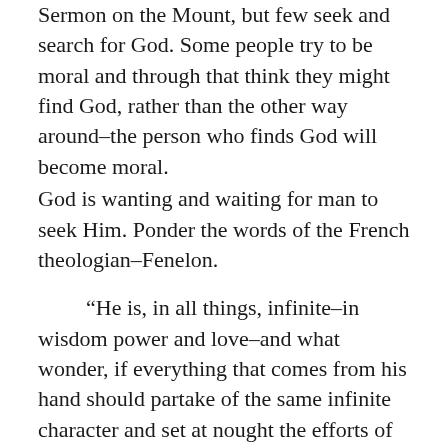Sermon on the Mount, but few seek and search for God. Some people try to be moral and through that think they might find God, rather than the other way around–the person who finds God will become moral.
God is wanting and waiting for man to seek Him. Ponder the words of the French theologian–Fenelon.
“He is, in all things, infinite–in wisdom power and love–and what wonder, if everything that comes from his hand should partake of the same infinite character and set at nought the efforts of human reason. When He works, His ways and His thought are declared by the prophet to be as far above our ways and our thoughts as